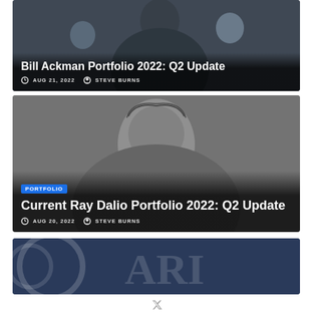[Figure (photo): Photo of Bill Ackman with overlay text showing article card for Bill Ackman Portfolio 2022: Q2 Update, dated AUG 21, 2022 by STEVE BURNS]
[Figure (photo): Black and white photo of Ray Dalio with PORTFOLIO tag and overlay text for Current Ray Dalio Portfolio 2022: Q2 Update, dated AUG 20, 2022 by STEVE BURNS]
[Figure (photo): Partial view of an article card with dark blue/navy background showing partial 'ARI' lettering, likely Bridgewater or ARI-related content]